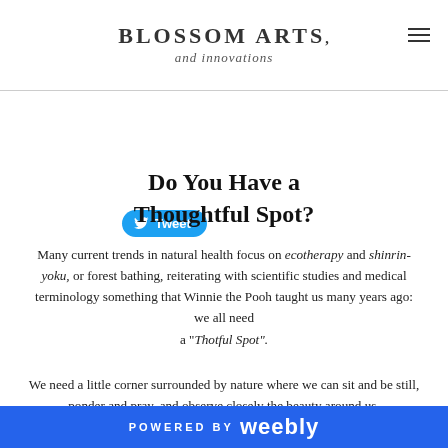Blossom Arts and innovations
[Figure (other): Twitter Tweet button in blue rounded rectangle]
Do You Have a Thoughtful Spot?
Many current trends in natural health focus on ecotherapy and shinrin-yoku, or forest bathing, reiterating with scientific studies and medical terminology something that Winnie the Pooh taught us many years ago: we all need a “Thotful Spot”.
We need a little corner surrounded by nature where we can sit and be still, ponder and pray, and observe closely the beauty around us.
These posts are musings and meanderings from my Thoughtful Spots,
POWERED BY weebly